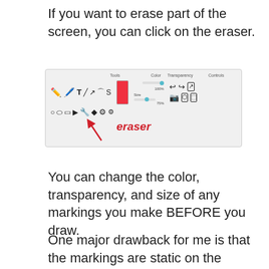If you want to erase part of the screen, you can click on the eraser.
[Figure (screenshot): Screenshot of a drawing toolbar showing tools (pencil, pen, text, lines, shapes, arrow, eraser, diamond, gear), a red color swatch, transparency slider at 100% and size slider at 75%, and control icons (undo, redo, export, camera, share, exit). A red arrow points to the eraser tool with the label 'eraser' in red italic text.]
You can change the color, transparency, and size of any markings you make BEFORE you draw.
One major drawback for me is that the markings are static on the screen and sometimes I forget and begin to scroll